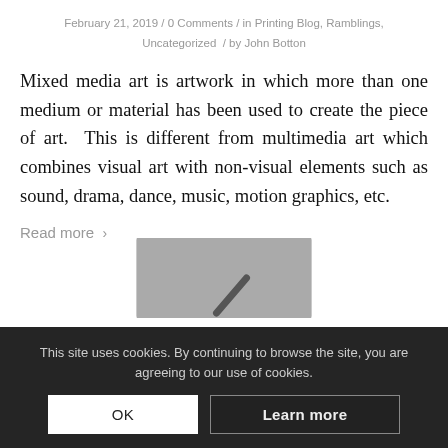February 21, 2019 / 0 Comments / in Printing Blog, Ramblings, Uncategorized / by John Botton
Mixed media art is artwork in which more than one medium or material has been used to create the piece of art. This is different from multimedia art which combines visual art with non-visual elements such as sound, drama, dance, music, motion graphics, etc.
Read more >
[Figure (other): Partially visible grey rectangle image with a dark diagonal mark, partially obscured by the cookie consent banner.]
This site uses cookies. By continuing to browse the site, you are agreeing to our use of cookies.
OK   Learn more